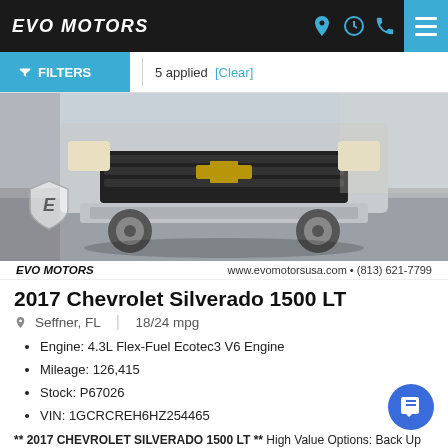EVO MOTORS
FILTERS  5 applied [Clear]
[Figure (photo): Front view of a silver 2017 Chevrolet Silverado 1500 LT truck parked in a lot. EVO Motors logo watermark visible. Photo caption: EVO MOTORS  www.evomotorsusa.com • (813) 621-7799]
EVO MOTORS  www.evomotorsusa.com • (813) 621-7799
2017 Chevrolet Silverado 1500 LT
Seffner, FL  |  18/24 mpg
Engine: 4.3L Flex-Fuel Ecotec3 V6 Engine
Mileage: 126,415
Stock: P67026
VIN: 1GCRCREH6HZ254465
** 2017 CHEVROLET SILVERADO 1500 LT ** High Value Options: Back Up Camera